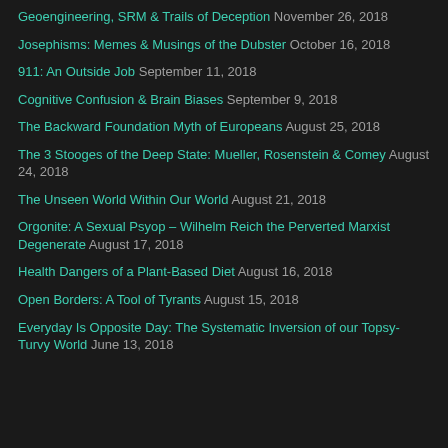Geoengineering, SRM & Trails of Deception November 26, 2018
Josephisms: Memes & Musings of the Dubster October 16, 2018
911: An Outside Job September 11, 2018
Cognitive Confusion & Brain Biases September 9, 2018
The Backward Foundation Myth of Europeans August 25, 2018
The 3 Stooges of the Deep State: Mueller, Rosenstein & Comey August 24, 2018
The Unseen World Within Our World August 21, 2018
Orgonite: A Sexual Psyop – Wilhelm Reich the Perverted Marxist Degenerate August 17, 2018
Health Dangers of a Plant-Based Diet August 16, 2018
Open Borders: A Tool of Tyrants August 15, 2018
Everyday Is Opposite Day: The Systematic Inversion of our Topsy-Turvy World June 13, 2018